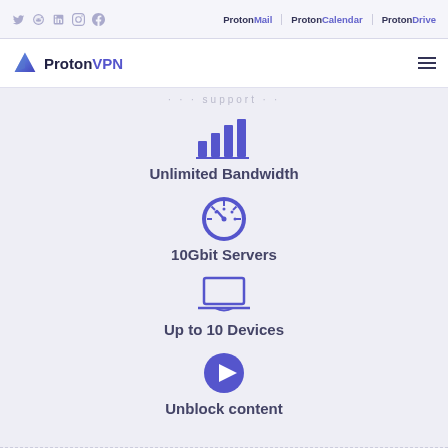Social icons: Twitter, Reddit, LinkedIn, Instagram, Facebook | Proton Mail | Proton Calendar | Proton Drive
ProtonVPN logo and navigation
· · · support · ·
[Figure (illustration): Bar chart icon representing Unlimited Bandwidth]
Unlimited Bandwidth
[Figure (illustration): Speedometer icon representing 10Gbit Servers]
10Gbit Servers
[Figure (illustration): Laptop icon representing Up to 10 Devices]
Up to 10 Devices
[Figure (illustration): Play button icon representing Unblock content]
Unblock content